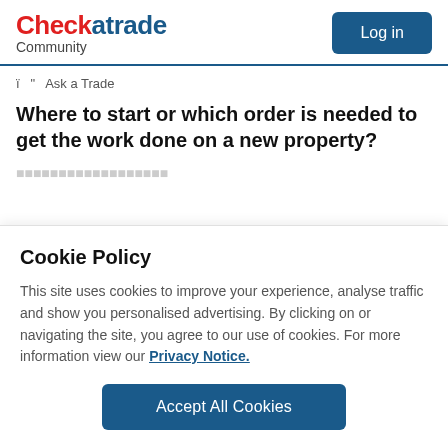Checkatrade Community
ï " Ask a Trade
Where to start or which order is needed to get the work done on a new property?
Cookie Policy
This site uses cookies to improve your experience, analyse traffic and show you personalised advertising. By clicking on or navigating the site, you agree to our use of cookies. For more information view our Privacy Notice.
Accept All Cookies